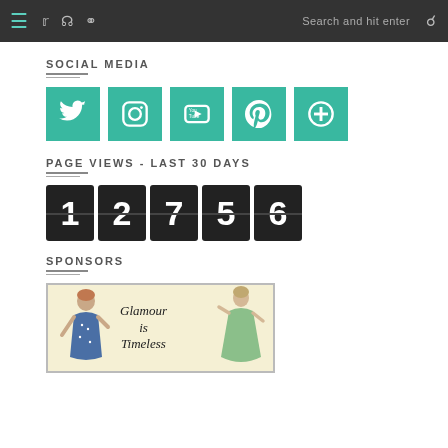Navigation bar with menu, social icons (Twitter, Instagram, Pinterest), search field
SOCIAL MEDIA
[Figure (infographic): Row of 5 teal/green social media icon boxes: Twitter bird, Instagram camera, YouTube play, Pinterest P, and a plus/add icon]
PAGE VIEWS - LAST 30 DAYS
[Figure (infographic): Flip-counter style digit display showing 12756]
SPONSORS
[Figure (illustration): Vintage retro illustration of two women in 1950s dresses with text 'Glamour is Timeless' on yellow background]